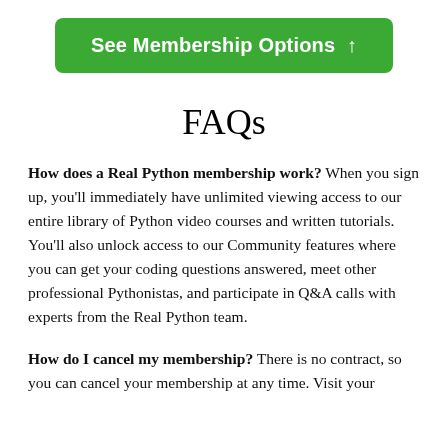[Figure (other): Green button labeled 'See Membership Options ↑']
FAQs
How does a Real Python membership work? When you sign up, you'll immediately have unlimited viewing access to our entire library of Python video courses and written tutorials. You'll also unlock access to our Community features where you can get your coding questions answered, meet other professional Pythonistas, and participate in Q&A calls with experts from the Real Python team.
How do I cancel my membership? There is no contract, so you can cancel your membership at any time. Visit your